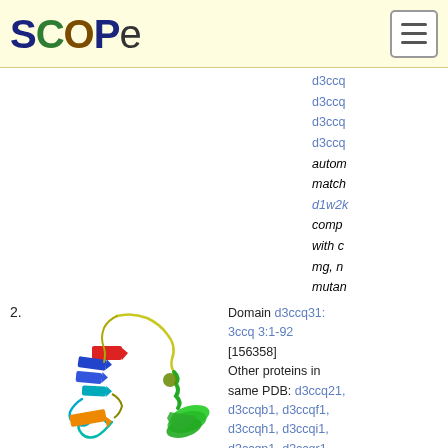[Figure (logo): SCOPe logo with colored letters: S (dark blue), C (green), O (brown), P (dark blue), e (black)]
d3ccq... d3ccq... d3ccq... d3ccq... automatically matched d1w2k... compared with c... mg, n... mutant...
[Figure (illustration): Protein structure ribbon diagram for domain d3ccq31, showing beta strands in blue, red, orange, alpha helices in green, and loop regions in teal, yellow-green]
2. Domain d3ccq31: 3ccq 3:1-92 [156358] Other proteins in same PDB: d3ccq21, d3ccqb1, d3ccqf1, d3ccqh1, d3ccqi1, d3ccqp1, d3ccqr1, d3ccqs1, d3ccqy1,